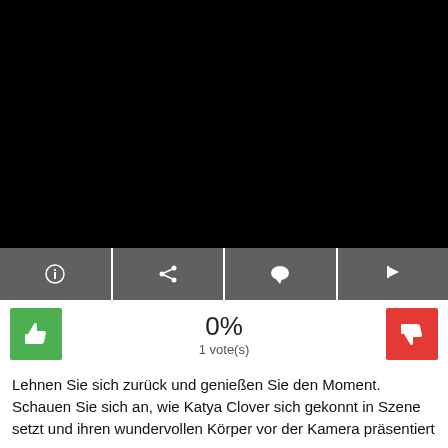[Figure (screenshot): Black video player area]
[Figure (screenshot): Toolbar with four icon buttons: info, share, comment, flag]
0%
1 vote(s)
Lehnen Sie sich zurück und genießen Sie den Moment. Schauen Sie sich an, wie Katya Clover sich gekonnt in Szene setzt und ihren wundervollen Körper vor der Kamera präsentiert